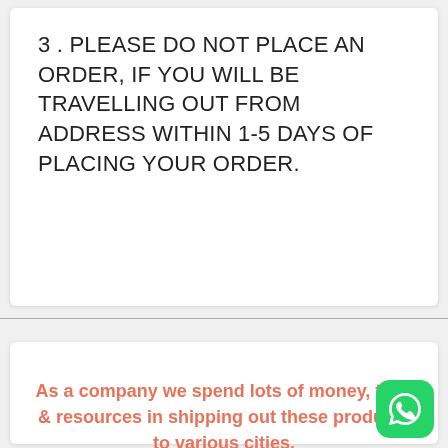3 . PLEASE DO NOT PLACE AN ORDER, IF YOU WILL BE TRAVELLING OUT FROM ADDRESS WITHIN 1-5 DAYS OF PLACING YOUR ORDER.
As a company we spend lots of money, time & resources in shipping out these products to various cities.
Sadly, some customers either choose to be